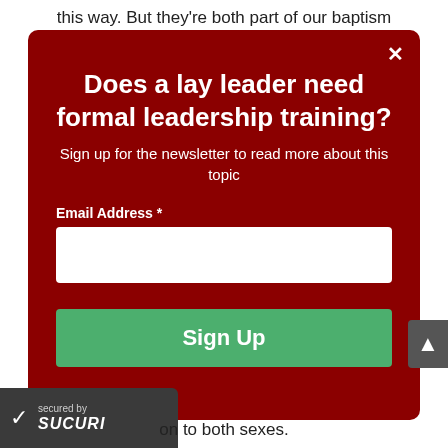this way. But they're both part of our baptism
Does a lay leader need formal leadership training?
Sign up for the newsletter to read more about this topic
Email Address *
Sign Up
secured by
SUCURI
on to both sexes.